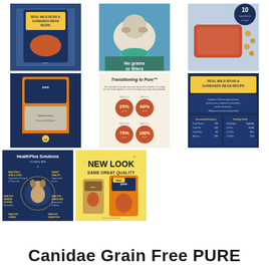[Figure (photo): Dog food bag - Real Wild Boar & Garbanzo Bean Recipe, blue/navy packaging]
[Figure (photo): Dog eating from bowl with text 'No grains or fillers']
[Figure (photo): Raw meat and beans on dark blue plate with '10 ingredients' badge]
[Figure (photo): Back of dog food bag - Pure formula, orange and navy packaging]
[Figure (infographic): Transitioning to Pure - infographic showing 25%, 60%, 75%, 100% Pure circles in four steps]
[Figure (photo): Real Wild Boar & Garbanzo Bean Recipe label/nutrition panel on navy background]
[Figure (infographic): HealthPlus Solutions in every bite - navy infographic showing dog with benefit callouts]
[Figure (photo): New Look Same Great Quality - yellow promotional image with Pure dog food bag]
Canidae Grain Free PURE